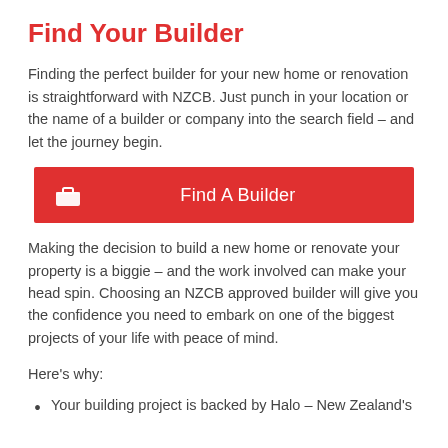Find Your Builder
Finding the perfect builder for your new home or renovation is straightforward with NZCB. Just punch in your location or the name of a builder or company into the search field – and let the journey begin.
[Figure (other): Red button with a builder/briefcase icon and the text 'Find A Builder']
Making the decision to build a new home or renovate your property is a biggie – and the work involved can make your head spin. Choosing an NZCB approved builder will give you the confidence you need to embark on one of the biggest projects of your life with peace of mind.
Here's why:
Your building project is backed by Halo – New Zealand's